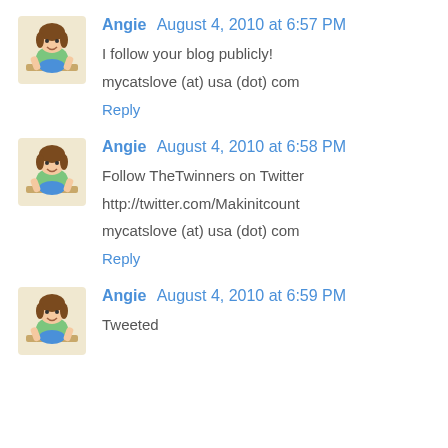[Figure (illustration): Avatar illustration of a cartoon girl with brown hair and colorful outfit, sitting at a desk]
Angie  August 4, 2010 at 6:57 PM
I follow your blog publicly!

mycatslove (at) usa (dot) com
Reply
[Figure (illustration): Avatar illustration of a cartoon girl with brown hair and colorful outfit, sitting at a desk]
Angie  August 4, 2010 at 6:58 PM
Follow TheTwinners on Twitter

http://twitter.com/Makinitcount

mycatslove (at) usa (dot) com
Reply
[Figure (illustration): Avatar illustration of a cartoon girl with brown hair and colorful outfit, sitting at a desk]
Angie  August 4, 2010 at 6:59 PM
Tweeted